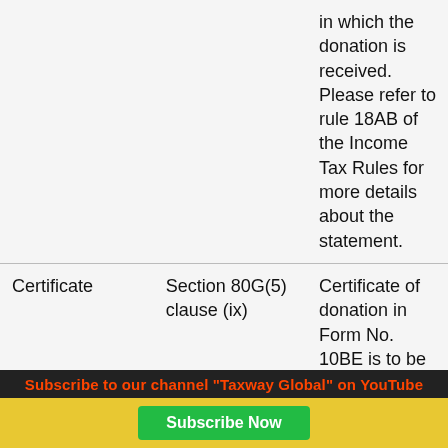|  |  |  |
| --- | --- | --- |
|  |  | in which the donation is received. Please refer to rule 18AB of the Income Tax Rules for more details about the statement. |
| Certificate | Section 80G(5) clause (ix) | Certificate of donation in Form No. 10BE is to be furnished to the donor within 31st immediately following Financial |
Subscribe to our channel "Taxway Global" on YouTube
Subscribe Now